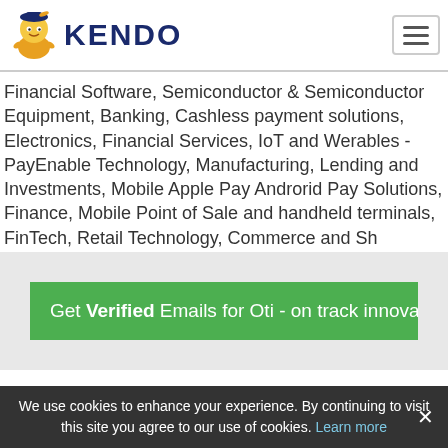[Figure (logo): Kendo logo with cartoon ninja/pirate character and KENDO text in dark blue]
Financial Software, Semiconductor & Semiconductor Equipment, Banking, Cashless payment solutions, Electronics, Financial Services, IoT and Werables - PayEnable Technology, Manufacturing, Lending and Investments, Mobile Apple Pay Androrid Pay Solutions, Finance, Mobile Point of Sale and handheld terminals, FinTech, Retail Technology, Commerce and Sh
Get Verified Emails for Oti - on track innovations B
We use cookies to enhance your experience. By continuing to visit this site you agree to our use of cookies. Learn more